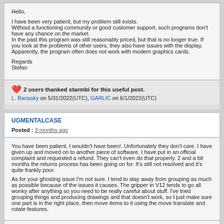Hello,

I have been very patient, but my problem still exists.
Without a functioning community or good customer support, such programs don't have any chance on the market.
In the past this program was still reasonably priced, but that is no longer true. If you look at the problems of other users, they also have issues with the display. Apparently, the program often does not work with modern graphics cards.

Regards
Stefan
❤ 2 users thanked starmbi for this useful post.
L. Banasky on 5/31/2022(UTC), GARLIC on 6/1/2022(UTC)
UGMENTALCASE
Posted : 3 months ago
You have been patient, I wouldn't have been!. Unfortunately they don't care. I have given up and moved on to another piece of software. I have put in an official complaint and requested a refund. They can't even do that properly. 2 and a bit months the returns process has been going on for. It's still not resolved and it's quite frankly poor.

As for your ghosting issue I'm not sure. I tend to stay away from grouping as much as possible because of the issues it causes. The gripper in V12 tends to go all wonky after anything so you need to be really careful about stuff. I've tried grouping things and producing drawings and that doesn't work, so I just make sure one part is in the right place, then move items to it using the move translate and rotate features.